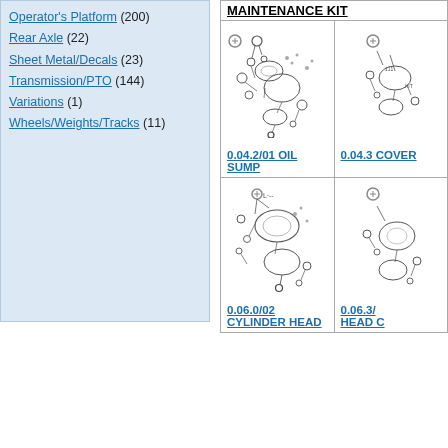Operator's Platform (200)
Rear Axle (22)
Sheet Metal/Decals (23)
Transmission/PTO (144)
Variations (1)
Wheels/Weights/Tracks (11)
MAINTENANCE KIT
[Figure (engineering-diagram): Exploded parts diagram for 0.04.2/01 Oil Sump assembly]
0.04.2/01 OIL SUMP
[Figure (engineering-diagram): Exploded parts diagram for 0.04.3 Cover assembly (partially visible)]
0.04.3 COVER
[Figure (engineering-diagram): Exploded parts diagram for 0.06.0/02 Cylinder Head assembly]
0.06.0/02 CYLINDER HEAD
[Figure (engineering-diagram): Exploded parts diagram for 0.06.3 Head Cover assembly (partially visible)]
0.06.3/ HEAD C